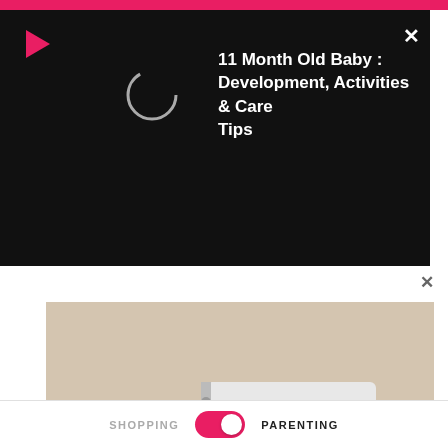[Figure (screenshot): Black video/notification popup overlay showing a play icon (red triangle), a loading circle, and bold white text reading '11 Month Old Baby : Development, Activities & Care Tips' with an X close button]
[Figure (photo): Pregnant woman sitting on a couch, writing in a spiral notebook, with a baby sonogram photo and small gray baby shoes beside her]
Popular Irish Baby Names for Boys and Girls With Meanings
SHOPPING  [toggle]  PARENTING